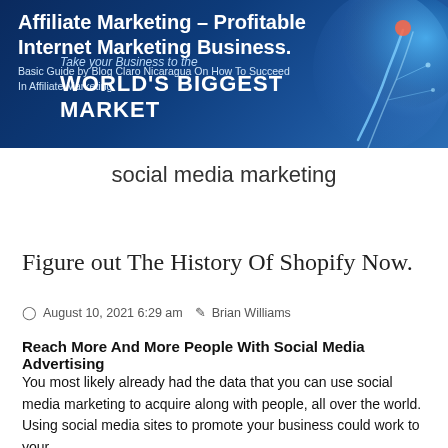[Figure (illustration): Banner image with dark blue background and glowing digital elements. Shows a hand pointing finger with digital light effects. Text overlaid: 'Affiliate Marketing – Profitable Internet Marketing Business.' and subtitle 'Basic Guide by Blog Claro Nicaragua On How To Succeed In Affiliate Marketing.' with overlay text 'Take your Business to the WORLD'S BIGGEST MARKET']
social media marketing
Figure out The History Of Shopify Now.
⊙ August 10, 2021 6:29 am  ✎ Brian Williams
Reach More And More People With Social Media Advertising
You most likely already had the data that you can use social media marketing to acquire along with people, all over the world. Using social media sites to promote your business could work to your